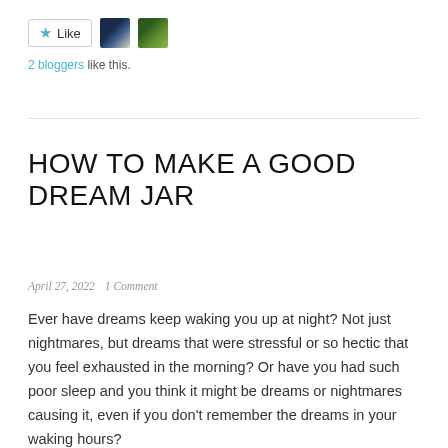[Figure (other): Like button with star icon and two blogger avatar thumbnails (moon and plant)]
2 bloggers like this.
HOW TO MAKE A GOOD DREAM JAR
April 27, 2022   1 Comment
Ever have dreams keep waking you up at night? Not just nightmares, but dreams that were stressful or so hectic that you feel exhausted in the morning? Or have you had such poor sleep and you think it might be dreams or nightmares causing it, even if you don't remember the dreams in your waking hours?